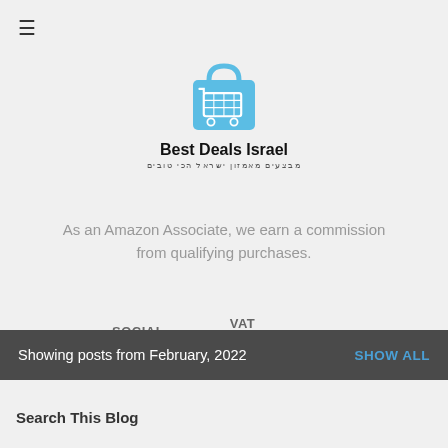[Figure (logo): Best Deals Israel logo with shopping cart and bag icon in blue, with Hebrew subtitle text]
As an Amazon Associate, we earn a commission from qualifying purchases.
SOCIAL MEDIA   VAT CALCULATOR
Showing posts from February, 2022   SHOW ALL
Search This Blog